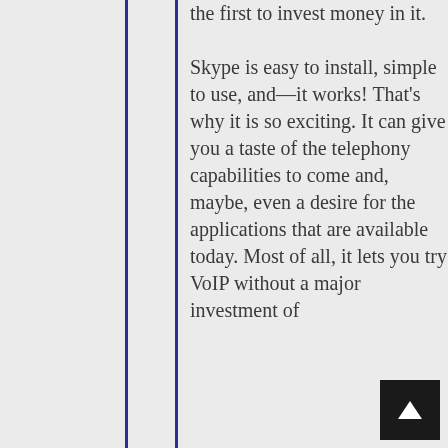the first to invest money in it.

Skype is easy to install, simple to use, and—it works! That's why it is so exciting. It can give you a taste of the telephony capabilities to come and, maybe, even a desire for the applications that are available today. Most of all, it lets you try VoIP without a major investment of